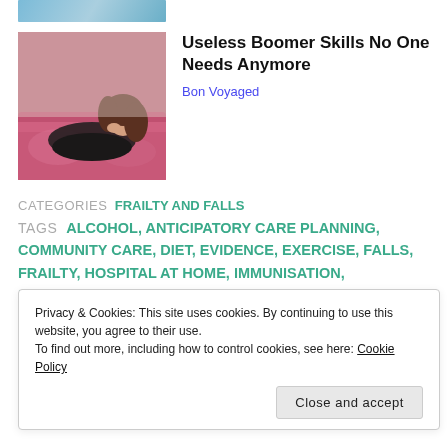[Figure (photo): Thumbnail strip at top, partial image showing blue tones]
[Figure (photo): Photo of a woman with dark hair lying on a pink/red sofa, wearing a black outfit]
Useless Boomer Skills No One Needs Anymore
Bon Voyaged
CATEGORIES  FRAILTY AND FALLS
TAGS  ALCOHOL, ANTICIPATORY CARE PLANNING, COMMUNITY CARE, DIET, EVIDENCE, EXERCISE, FALLS, FRAILTY, HOSPITAL AT HOME, IMMUNISATION, INTERMEDIATE CARE, NUTRITION, OBESITY, PHYSICAL ACTIVITY, POLYPHARMACY, PREVENTION, PRIMARY CARE, REABLEMENT, SMOKING
Privacy & Cookies: This site uses cookies. By continuing to use this website, you agree to their use.
To find out more, including how to control cookies, see here: Cookie Policy